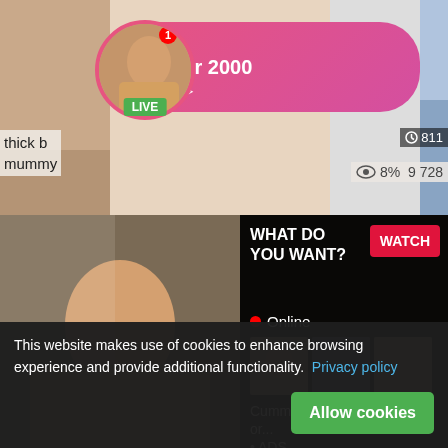[Figure (screenshot): Adult video streaming website screenshot showing thumbnails, ad overlay, and cookie consent bar]
ADS
Jeniffer 2000
(00:12)
LIVE
thick b
mummy
811
8%  9 728
WHAT DO YOU WANT?
WATCH
Online
Cumming, ass fucking, squirt or...
• ADS
5:30
asian teenager creampie
83%  520
huge-chested japanese stunner
77%  515
This website makes use of cookies to enhance browsing experience and provide additional functionality. Privacy policy
Allow cookies